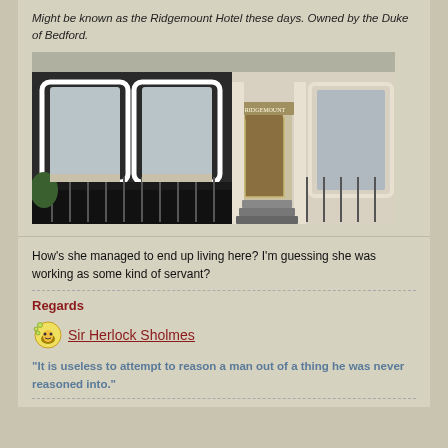Might be known as the Ridgemount Hotel these days. Owned by the Duke of Bedford.
[Figure (photo): Exterior photo of a Victorian-style brick building / hotel with white arched window surrounds, iron railings, steps leading to an entrance, and a sign above the door. Likely the Ridgemount Hotel in London.]
How's she managed to end up living here? I'm guessing she was working as some kind of servant?
Regards
Sir Herlock Sholmes
"It is useless to attempt to reason a man out of a thing he was never reasoned into."